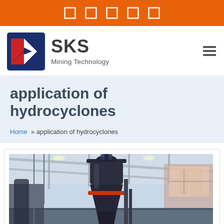SKS Mining Technology navigation bar with icons
[Figure (logo): SKS Mining Technology logo with red and blue chevron icon]
application of hydrocyclones
Home » application of hydrocyclones
[Figure (photo): Industrial hydrocyclone equipment inside a large factory/warehouse building with steel roof structure, the cyclone is a large dark conical vessel]